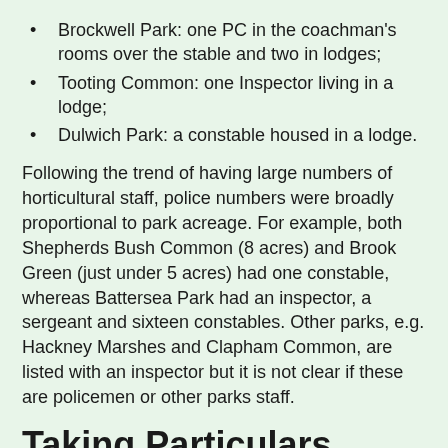Brockwell Park: one PC in the coachman's rooms over the stable and two in lodges;
Tooting Common: one Inspector living in a lodge;
Dulwich Park: a constable housed in a lodge.
Following the trend of having large numbers of horticultural staff, police numbers were broadly proportional to park acreage. For example, both Shepherds Bush Common (8 acres) and Brook Green (just under 5 acres) had one constable, whereas Battersea Park had an inspector, a sergeant and sixteen constables. Other parks, e.g. Hackney Marshes and Clapham Common, are listed with an inspector but it is not clear if these are policemen or other parks staff.
Taking Particulars
When the police found someone breaking the parks regulations, the policy was to take particulars of the offender and report those to the head of the